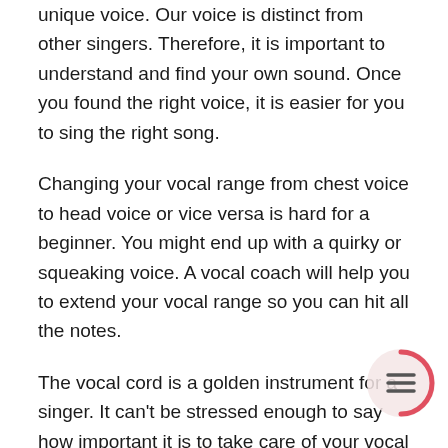unique voice. Our voice is distinct from other singers. Therefore, it is important to understand and find your own sound. Once you found the right voice, it is easier for you to sing the right song.
Changing your vocal range from chest voice to head voice or vice versa is hard for a beginner. You might end up with a quirky or squeaking voice. A vocal coach will help you to extend your vocal range so you can hit all the notes.
The vocal cord is a golden instrument for a singer. It can't be stressed enough to say how important it is to take care of your vocal cord to avoid harming your voice.
[Figure (illustration): A circular button/icon with a pink/red partial circle border on the right side and a list/menu icon (three horizontal lines) in the center, positioned in the bottom-right corner of the page.]